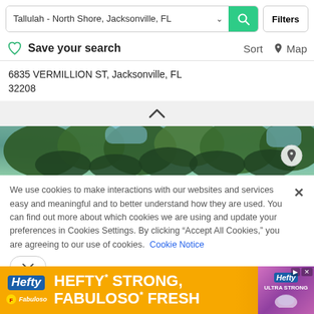Tallulah - North Shore, Jacksonville, FL | Filters
Save your search  Sort  Map
6835 VERMILLION ST, Jacksonville, FL 32208
[Figure (photo): Aerial or street-level photo of trees with green foliage against blue sky, with a map pin icon visible on the right side]
We use cookies to make interactions with our websites and services easy and meaningful and to better understand how they are used. You can find out more about which cookies we are using and update your preferences in Cookies Settings. By clicking "Accept All Cookies," you are agreeing to our use of cookies. Cookie Notice
[Figure (infographic): Hefty advertisement banner: HEFTY STRONG, FABULOSO FRESH with orange background and product imagery]